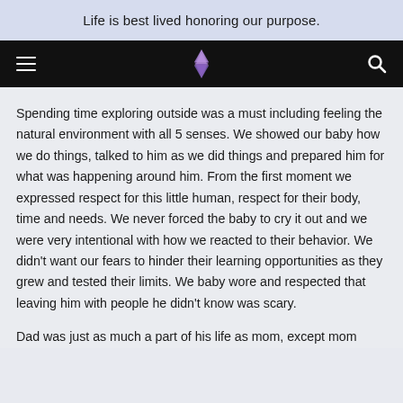Life is best lived honoring our purpose.
[Figure (logo): Navigation bar with hamburger menu icon on left, purple star/merkaba logo in center-left, and search icon on right, on black background]
Spending time exploring outside was a must including feeling the natural environment with all 5 senses. We showed our baby how we do things, talked to him as we did things and prepared him for what was happening around him. From the first moment we expressed respect for this little human, respect for their body, time and needs. We never forced the baby to cry it out and we were very intentional with how we reacted to their behavior. We didn't want our fears to hinder their learning opportunities as they grew and tested their limits. We baby wore and respected that leaving him with people he didn't know was scary.
Dad was just as much a part of his life as mom, except mom